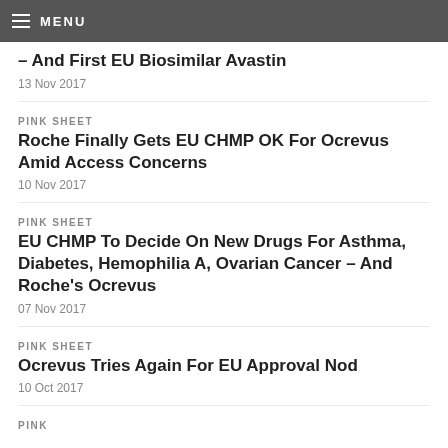MENU
– And First EU Biosimilar Avastin
13 Nov 2017
PINK SHEET
Roche Finally Gets EU CHMP OK For Ocrevus Amid Access Concerns
10 Nov 2017
PINK SHEET
EU CHMP To Decide On New Drugs For Asthma, Diabetes, Hemophilia A, Ovarian Cancer – And Roche's Ocrevus
07 Nov 2017
PINK SHEET
Ocrevus Tries Again For EU Approval Nod
10 Oct 2017
PINK